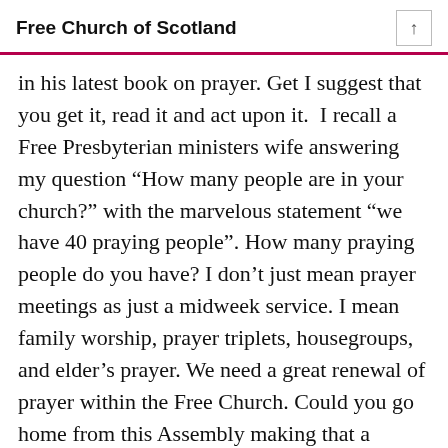Free Church of Scotland
in his latest book on prayer. Get I suggest that you get it, read it and act upon it.  I recall a Free Presbyterian ministers wife answering my question “How many people are in your church?” with the marvelous statement “we have 40 praying people”. How many praying people do you have? I don’t just mean prayer meetings as just a midweek service. I mean family worship, prayer triplets, housegroups, and elder’s prayer. We need a great renewal of prayer within the Free Church. Could you go home from this Assembly making that a priority?
In Reach – There are two ways that we need to reach